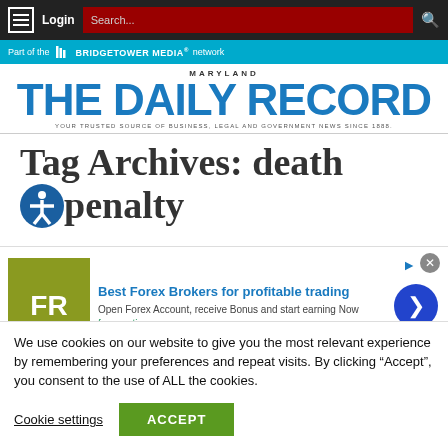Login | Search... | BridgeTower Media network
[Figure (logo): Maryland The Daily Record - YOUR TRUSTED SOURCE OF BUSINESS, LEGAL AND GOVERNMENT NEWS SINCE 1888.]
Tag Archives: death penalty
[Figure (infographic): Forex advertisement: Best Forex Brokers for profitable trading. Open Forex Account, receive Bonus and start earning Now. forex-ratings.com]
We use cookies on our website to give you the most relevant experience by remembering your preferences and repeat visits. By clicking “Accept”, you consent to the use of ALL the cookies.
Cookie settings   ACCEPT